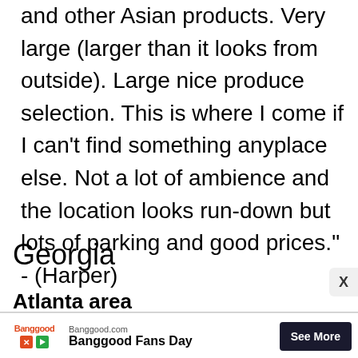and other Asian products. Very large (larger than it looks from outside). Large nice produce selection. This is where I come if I can't find something anyplace else. Not a lot of ambience and the location looks run-down but lots of parking and good prices." - (Harper)
Georgia
Atlanta area